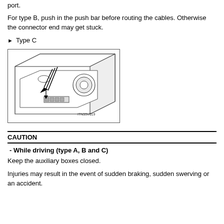port.
For type B, push in the push bar before routing the cables. Otherwise the connector end may get stuck.
► Type C
[Figure (illustration): Technical line drawing of a vehicle auxiliary box or connector port area (Type C), showing cable routing with arrows indicating insertion direction. Image labeled TN35V019.]
CAUTION
- While driving (type A, B and C)
Keep the auxiliary boxes closed.
Injuries may result in the event of sudden braking, sudden swerving or an accident.